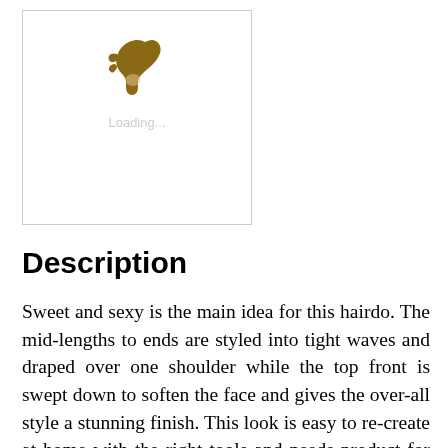[Figure (illustration): A loading placeholder image box with a small hair/silhouette icon at top center and 'Loading...' text beneath it. The box has a light gray border.]
Description
Sweet and sexy is the main idea for this hairdo. The mid-lengths to ends are styled into tight waves and draped over one shoulder while the top front is swept down to soften the face and gives the over-all style a stunning finish. This look is easy to re-create at home with the right tools and needs product for shining blonde...